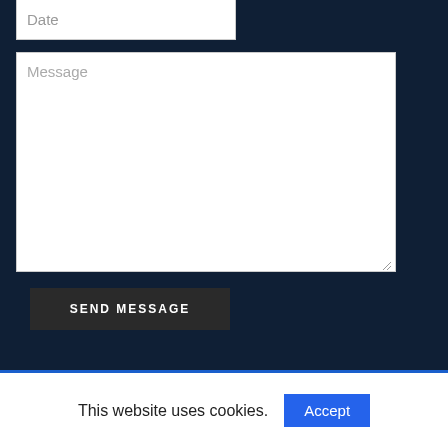Date
Message
SEND MESSAGE
This website uses cookies.
Accept